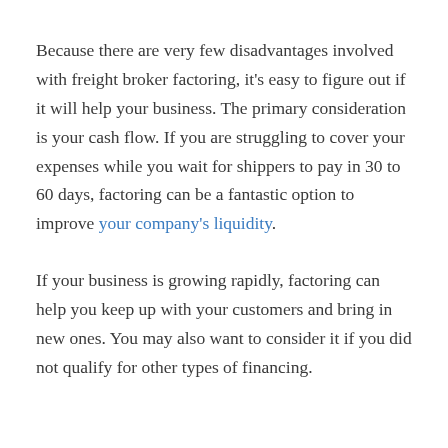Because there are very few disadvantages involved with freight broker factoring, it's easy to figure out if it will help your business. The primary consideration is your cash flow. If you are struggling to cover your expenses while you wait for shippers to pay in 30 to 60 days, factoring can be a fantastic option to improve your company's liquidity.
If your business is growing rapidly, factoring can help you keep up with your customers and bring in new ones. You may also want to consider it if you did not qualify for other types of financing.